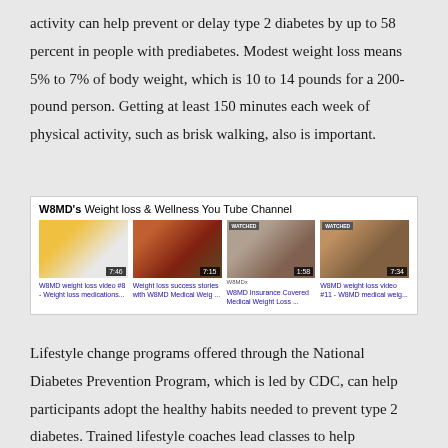activity can help prevent or delay type 2 diabetes by up to 58 percent in people with prediabetes. Modest weight loss means 5% to 7% of body weight, which is 10 to 14 pounds for a 200-pound person. Getting at least 150 minutes each week of physical activity, such as brisk walking, also is important.
[Figure (screenshot): W8MD's Weight loss & Wellness You Tube Channel showing four video thumbnails: W8MD weight loss video #8 - Weight loss medications..., Weight loss success stories with W8MD Medical Weig..., W8MD Insurance Covered Medical Weight Loss..., W8MD weight loss video #11 - W8MD medical weig...]
Lifestyle change programs offered through the National Diabetes Prevention Program, which is led by CDC, can help participants adopt the healthy habits needed to prevent type 2 diabetes. Trained lifestyle coaches lead classes to help